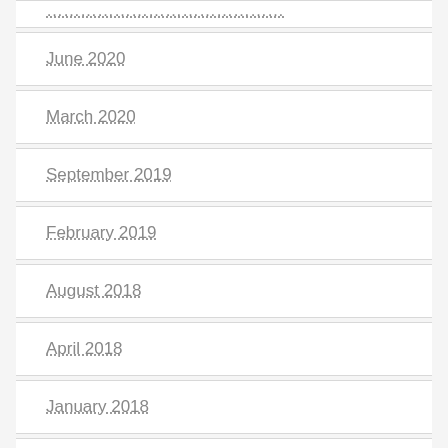(partial entry)
June 2020
March 2020
September 2019
February 2019
August 2018
April 2018
January 2018
June 2017
March 2017